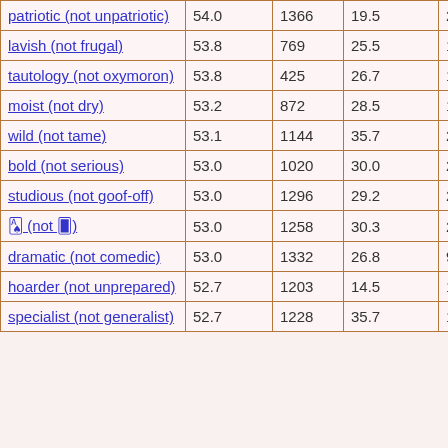| patriotic (not unpatriotic) | 54.0 | 1366 | 19.5 | 22 |
| lavish (not frugal) | 53.8 | 769 | 25.5 | 17 |
| tautology (not oxymoron) | 53.8 | 425 | 26.7 | 18 |
| moist (not dry) | 53.2 | 872 | 28.5 | 106 |
| wild (not tame) | 53.1 | 1144 | 35.7 | 20 |
| bold (not serious) | 53.0 | 1020 | 30.0 | 24 |
| studious (not goof-off) | 53.0 | 1296 | 29.2 | 24 |
| 🂡 (not 🂠) | 53.0 | 1258 | 30.3 | 27 |
| dramatic (not comedic) | 53.0 | 1332 | 26.8 | 99 |
| hoarder (not unprepared) | 52.7 | 1203 | 14.5 | 10 |
| specialist (not generalist) | 52.7 | 1228 | 35.7 | 14 |